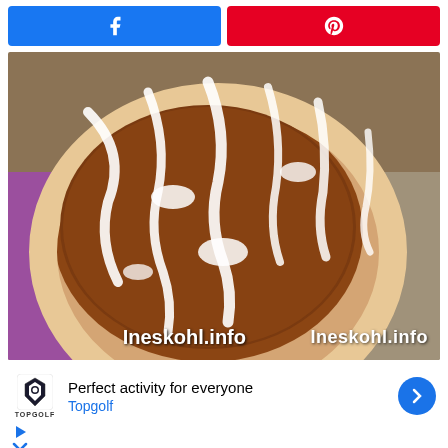[Figure (screenshot): Social share bar with Facebook (blue) and Pinterest (red) buttons]
[Figure (photo): Close-up photo of a cinnamon sugar flatbread or pizza with white icing drizzled on top, on a purple mat with granite countertop visible. Watermark reads Ineskohl.info]
[Figure (screenshot): Advertisement section: Topgolf logo with text 'Perfect activity for everyone' and 'Topgolf', navigation arrow icon, and two small ad icons (play and close)]